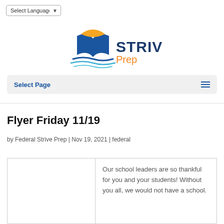Select Language
[Figure (logo): Strive Prep logo with open book icon in orange and blue, text 'STRIVE' in dark blue bold and 'Prep' in orange]
Select Page
Flyer Friday 11/19
by Federal Strive Prep | Nov 19, 2021 | federal
Our school leaders are so thankful for you and your students! Without you all, we would not have a school.